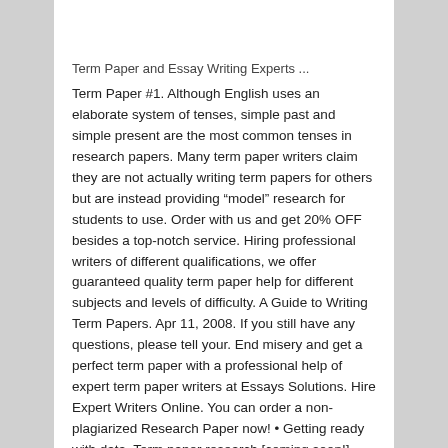Term Paper and Essay Writing Experts ...
Term Paper #1. Although English uses an elaborate system of tenses, simple past and simple present are the most common tenses in research papers. Many term paper writers claim they are not actually writing term papers for others but are instead providing “model” research for students to use. Order with us and get 20% OFF besides a top-notch service. Hiring professional writers of different qualifications, we offer guaranteed quality term paper help for different subjects and levels of difficulty. A Guide to Writing Term Papers. Apr 11, 2008. If you still have any questions, please tell your. End misery and get a perfect term paper with a professional help of expert term paper writers at Essays Solutions. Hire Expert Writers Online. You can order a non-plagiarized Research Paper now! • Getting ready with data. Term paper research [coming soon!] Writing services company term papers. Scholastic’s “Research Papers: A Writing Workshop” offers students (grades 3–5) the opportunity to